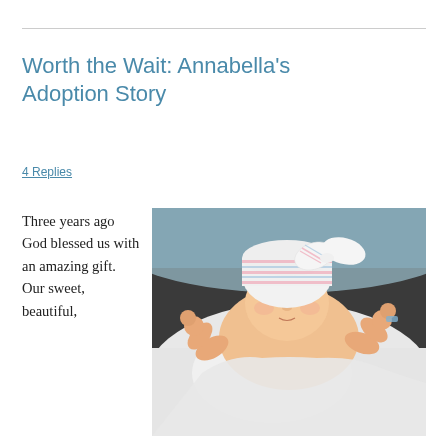Worth the Wait: Annabella's Adoption Story
4 Replies
Three years ago God blessed us with an amazing gift. Our sweet, beautiful,
[Figure (photo): Newborn baby lying on white blanket wearing a white and pink striped bow hat, eyes closed, arms raised slightly]